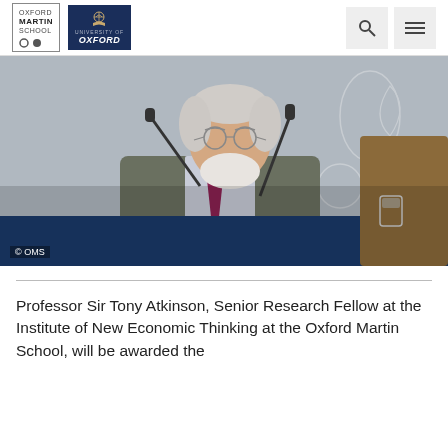[Figure (logo): Oxford Martin School logo with University of Oxford crest]
[Figure (photo): Professor Sir Tony Atkinson seated at a conference table speaking into a microphone, wearing a grey suit and burgundy tie, with decorative Oxford Martin School background]
© OMS
Professor Sir Tony Atkinson, Senior Research Fellow at the Institute of New Economic Thinking at the Oxford Martin School, will be awarded the